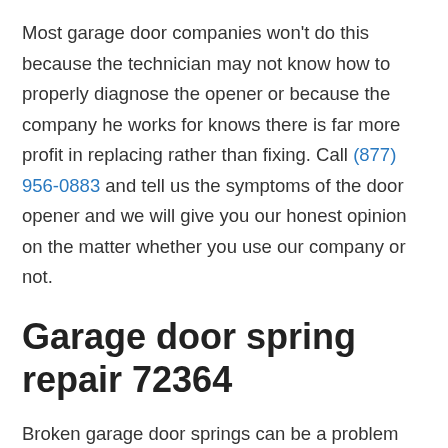Most garage door companies won't do this because the technician may not know how to properly diagnose the opener or because the company he works for knows there is far more profit in replacing rather than fixing. Call (877) 956-0883 and tell us the symptoms of the door opener and we will give you our honest opinion on the matter whether you use our company or not.
Garage door spring repair 72364
Broken garage door springs can be a problem especially if you have your car stuck in the garage. When the overhaul door spring breaks it